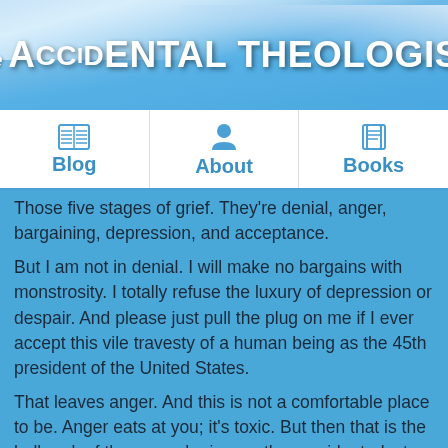The Accidental Theologist
Blog | About | Books
Those five stages of grief. They're denial, anger, bargaining, depression, and acceptance.
But I am not in denial. I will make no bargains with monstrosity. I totally refuse the luxury of depression or despair. And please just pull the plug on me if I ever accept this vile travesty of a human being as the 45th president of the United States.
That leaves anger. And this is not a comfortable place to be. Anger eats at you; it's toxic. But then that is the hallmark of the man who is now the president-elect.
I've felt that toxicity seeping into me over the